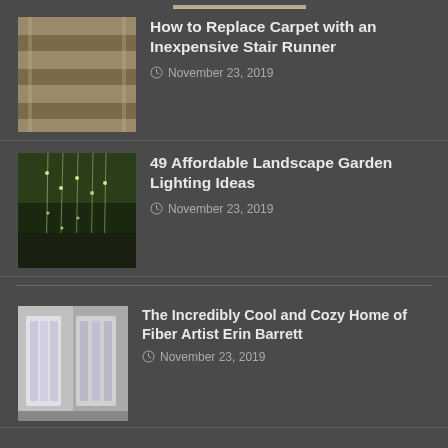[Figure (photo): Partial thumbnail of stair carpet]
How to Replace Carpet with an Inexpensive Stair Runner
November 23, 2019
[Figure (photo): Garden lighting with hanging lights and plants]
49 Affordable Landscape Garden Lighting Ideas
November 23, 2019
[Figure (photo): Fiber art wall hanging interior]
The Incredibly Cool and Cozy Home of Fiber Artist Erin Barrett
November 23, 2019
[Figure (photo): Two-tone kitchen cabinets]
7 Trends Zweifarbige Küchenschränke Ideen für 2018 Zweifarbige Küchenschrän...
November 23, 2019
[Figure (photo): Colorful bedroom furniture]
Best Free large Bedroom Furniture Sets Thoughts